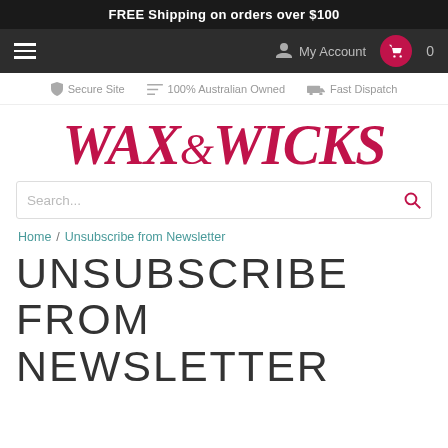FREE Shipping on orders over $100
[Figure (screenshot): Navigation bar with hamburger menu, My Account link, and cart button showing 0 items]
🔒 Secure Site   🏁 100% Australian Owned   🚚 Fast Dispatch
[Figure (logo): WAX&WICKS logo in red italic serif font]
Search...
Home / Unsubscribe from Newsletter
UNSUBSCRIBE FROM NEWSLETTER